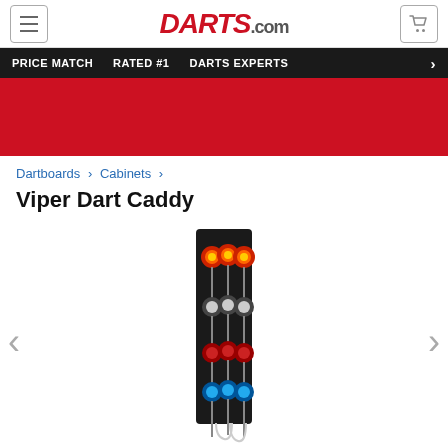DARTS.com
PRICE MATCH   RATED #1   DARTS EXPERTS
[Figure (photo): Red promotional banner area]
Dartboards > Cabinets >
Viper Dart Caddy
[Figure (photo): Viper Dart Caddy product photo showing a vertical black wall-mounted dart holder with multiple sets of darts including flame-design, skull-design, and blue-tipped darts hanging in rows with hooks at the bottom]